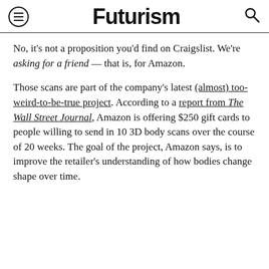Futurism
No, it's not a proposition you'd find on Craigslist. We're asking for a friend — that is, for Amazon.
Those scans are part of the company's latest (almost) too-weird-to-be-true project. According to a report from The Wall Street Journal, Amazon is offering $250 gift cards to people willing to send in 10 3D body scans over the course of 20 weeks. The goal of the project, Amazon says, is to improve the retailer's understanding of how bodies change shape over time.